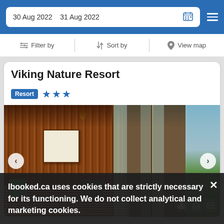30 Aug 2022  31 Aug 2022
Filter by  Sort by  View map
Viking Nature Resort
Resort ★★★
[Figure (photo): Interior photo of Viking Nature Resort showing wooden panel walls, glass sliding doors with curtains, a hammock in the foreground, artwork on the wall, and a view of tropical greenery outside.]
Ibooked.ca uses cookies that are strictly necessary for its functioning. We do not collect analytical and marketing cookies.